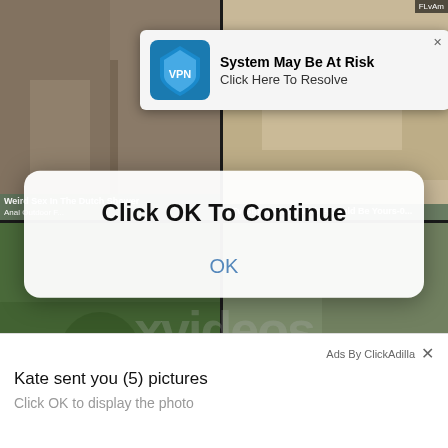[Figure (screenshot): Background showing a 2x2 grid of adult video thumbnails with colored overlays and text labels including 'Weird Sex In The Dutch Shower', 'Anal Outdoor Fuck', 'FTv Girls presents Nine-Could Be Yours-0...', 'Dirty Me...', 'ideo h...', 'Outdoor']
[Figure (screenshot): VPN system notification popup: 'System May Be At Risk / Click Here To Resolve' with VPN shield icon in blue]
[Figure (screenshot): Browser dialog overlay: 'Click OK To Continue' with an OK button in blue]
[Figure (screenshot): Bottom ad strip: 'Ads By ClickAdilla' with message 'Kate sent you (5) pictures / Click OK to display the photo']